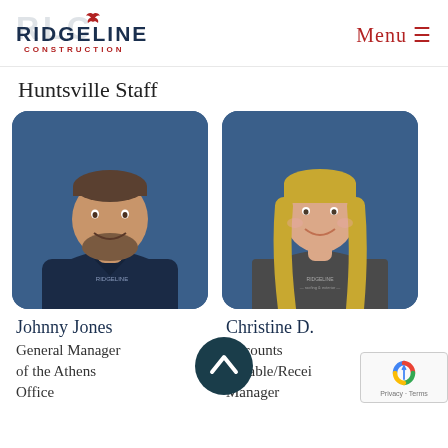[Figure (logo): Ridgeline Construction logo with RLC monogram and red bird icon]
Menu ☰
Huntsville Staff
[Figure (photo): Photo of Johnny Jones, a man with beard wearing dark navy Ridgeline uniform shirt, smiling against blue background]
[Figure (photo): Photo of Christine D., a woman with blonde hair wearing a Ridgeline t-shirt, smiling against blue background]
Johnny Jones
General Manager of the Athens Office
Christine D.
Accounts Payable/Receivable Manager
[Figure (other): Scroll-to-top button, dark teal circle with upward chevron arrow]
[Figure (other): reCAPTCHA badge with Privacy · Terms text]